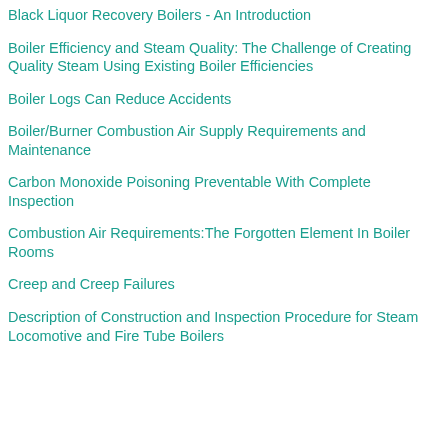Black Liquor Recovery Boilers - An Introduction
Boiler Efficiency and Steam Quality: The Challenge of Creating Quality Steam Using Existing Boiler Efficiencies
Boiler Logs Can Reduce Accidents
Boiler/Burner Combustion Air Supply Requirements and Maintenance
Carbon Monoxide Poisoning Preventable With Complete Inspection
Combustion Air Requirements:The Forgotten Element In Boiler Rooms
Creep and Creep Failures
Description of Construction and Inspection Procedure for Steam Locomotive and Fire Tube Boilers